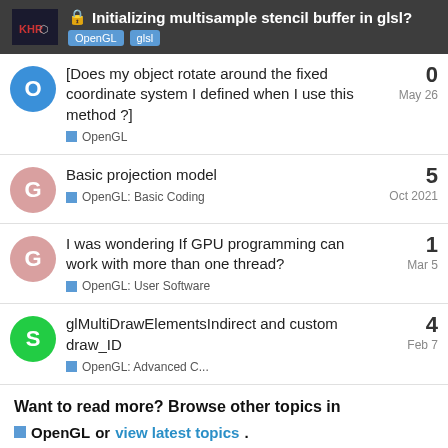Initializing multisample stencil buffer in glsl? | OpenGL  glsl
[Does my object rotate around the fixed coordinate system I defined when I use this method ?] | OpenGL | May 26 | 0
Basic projection model | OpenGL: Basic Coding | Oct 2021 | 5
I was wondering If GPU programming can work with more than one thread? | OpenGL: User Software | Mar 5 | 1
glMultiDrawElementsIndirect and custom draw_ID | OpenGL: Advanced C... | Feb 7 | 4
Want to read more? Browse other topics in
OpenGL or view latest topics.